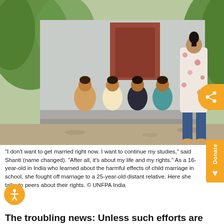[Figure (photo): A woman standing with her back to the camera, wearing a floral dress, facing four girls sitting against a white building wall. The setting appears rural/outdoor in India.]
"I don't want to get married right now. I want to continue my studies," said Shanti (name changed). "After all, it's about my life and my rights." As a 16-year-old in India who learned about the harmful effects of child marriage in school, she fought off marriage to a 25-year-old distant relative. Here she talks to peers about their rights. © UNFPA India
The troubling news: Unless such efforts are